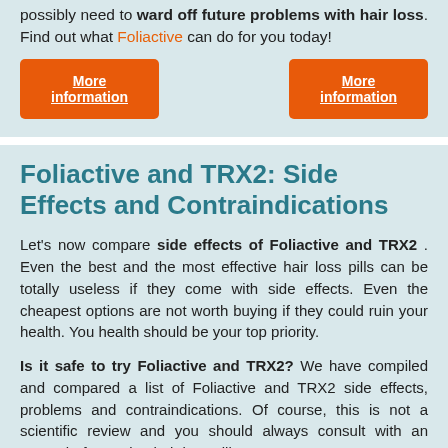possibly need to ward off future problems with hair loss. Find out what Foliactive can do for you today!
More information
More information
Foliactive and TRX2: Side Effects and Contraindications
Let's now compare side effects of Foliactive and TRX2 . Even the best and the most effective hair loss pills can be totally useless if they come with side effects. Even the cheapest options are not worth buying if they could ruin your health. You health should be your top priority.
Is it safe to try Foliactive and TRX2? We have compiled and compared a list of Foliactive and TRX2 side effects, problems and contraindications. Of course, this is not a scientific review and you should always consult with an expert before trying hair loss pills.